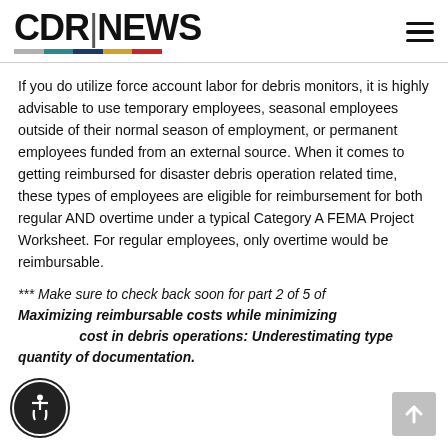CDR|NEWS
If you do utilize force account labor for debris monitors, it is highly advisable to use temporary employees, seasonal employees outside of their normal season of employment, or permanent employees funded from an external source. When it comes to getting reimbursed for disaster debris operation related time, these types of employees are eligible for reimbursement for both regular AND overtime under a typical Category A FEMA Project Worksheet. For regular employees, only overtime would be reimbursable.
*** Make sure to check back soon for part 2 of 5 of Maximizing reimbursable costs while minimizing local cost in debris operations: Underestimating type quantity of documentation.